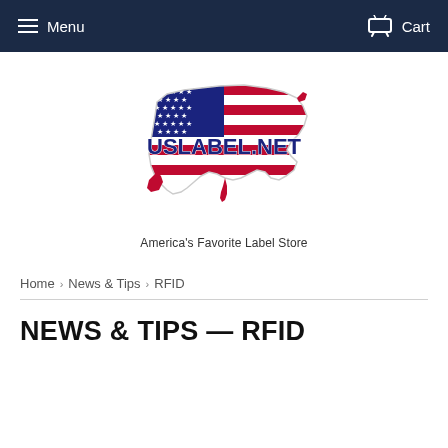Menu  Cart
[Figure (logo): USLABEL.NET logo — outline of USA map filled with American flag (stars and stripes), with 'USLABEL.NET' text overlay in bold dark blue/navy letters]
America's Favorite Label Store
Home › News & Tips › RFID
NEWS & TIPS — RFID